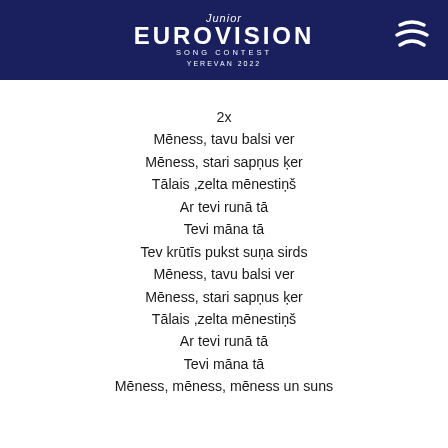[Figure (logo): Junior Eurovision Song Contest Yerevan 2022 logo on dark navy background with wave icon on right]
2x
Mēness, tavu balsi ver
Mēness, stari sapņus ķer
Tālais ,zelta mēnestiņš
Ar tevi runā tā
Tevi māna tā
Tev krūtīs pukst suņa sirds
Mēness, tavu balsi ver
Mēness, stari sapņus ķer
Tālais ,zelta mēnestiņš
Ar tevi runā tā
Tevi māna tā
Mēness, mēness, mēness un suns